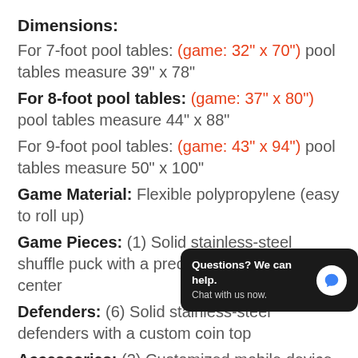Dimensions:
For 7-foot pool tables: (game: 32" x 70") pool tables measure 39" x 78"
For 8-foot pool tables: (game: 37" x 80") pool tables measure 44" x 88"
For 9-foot pool tables: (game: 43" x 94") pool tables measure 50" x 100"
Game Material: Flexible polypropylene (easy to roll up)
Game Pieces: (1) Solid stainless-steel shuffle puck with a precision cross-hair center
Defenders: (6) Solid stainless-steel defenders with a custom coin top
Accessories: (2) Customized mobile device holders (fits [all] tablets) so [players keep] their own personal scoreboard